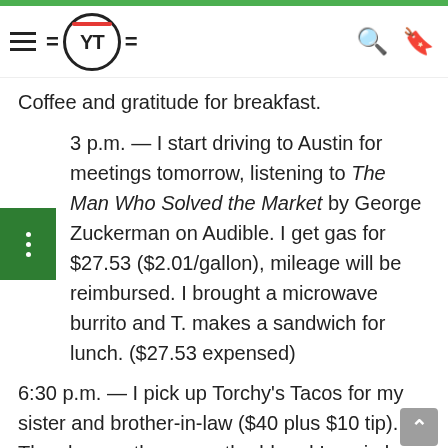= (YT) =  [navigation header with hamburger menu, YT logo, search and bookmark icons]
Coffee and gratitude for breakfast.
3 p.m. — I start driving to Austin for meetings tomorrow, listening to The Man Who Solved the Market by George Zuckerman on Audible. I get gas for $27.53 ($2.01/gallon), mileage will be reimbursed. I brought a microwave burrito and T. makes a sandwich for lunch. ($27.53 expensed)
6:30 p.m. — I pick up Torchy's Tacos for my sister and brother-in-law ($40 plus $10 tip). They have a three-month-old and I am in love. My sister is in medical school and needs to study so I only hang out for an hour. My brother and sister-in-law live next